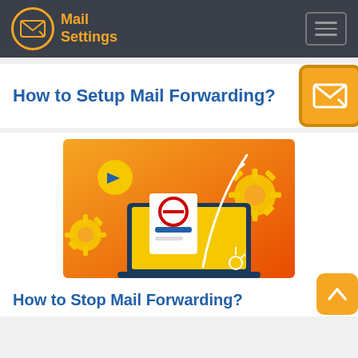Mail Settings
How to Setup Mail Forwarding?
[Figure (illustration): Illustration showing a laptop with a blocked document icon and a paper airplane flying upward, surrounded by yellow gear icons, on an orange-to-red gradient background. Mail forwarding concept.]
How to Stop Mail Forwarding?